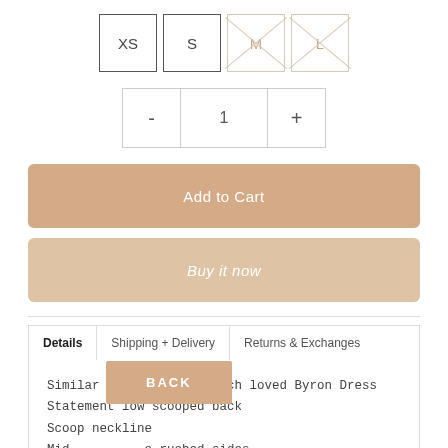[Figure (other): Size selector with XS (selected/bordered), S (bordered), M (crossed out/unavailable), L (crossed out/unavailable)]
[Figure (other): Quantity selector widget showing minus button, value 1, plus button]
Add to Cart
Buy it now
Details   Shipping + Delivery   Returns & Exchanges
Similar design to our much loved Byron Dress
Statement low scooped back
Scoop neckline
Mid... ruched sides
Silk...
48% Viscose 52% Rayon